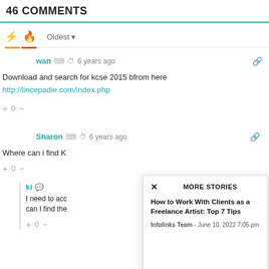46 COMMENTS
wan  6 years ago
Download and search for kcse 2015 bfrom here
http://lincepadie.com/index.php
+ 0 -
Sharon  6 years ago
Where can i find K
+ 0 -
ki
I need to acc can I find the
+ 0 -
[Figure (screenshot): Modal popup with X close button, title MORE STORIES, article title How to Work With Clients as a Freelance Artist: Top 7 Tips, byline Infolinks Team - June 10, 2022 7:05 pm]